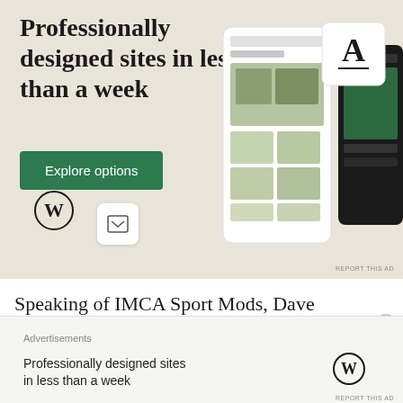[Figure (illustration): WordPress advertisement banner with beige background showing the headline 'Professionally designed sites in less than a week', a green 'Explore options' button, WordPress logo, and decorative website mockup screens on the right side.]
Speaking of IMCA Sport Mods, Dave Schmidt would grab his 2nd win of the night over an 8 car field. Schmidt once again led all 30 laps from the front row. Doug Coffman would yet again finish 2nd,
[Figure (illustration): Small bottom advertisement bar showing 'Advertisements' label, text 'Professionally designed sites in less than a week' and WordPress logo on right.]